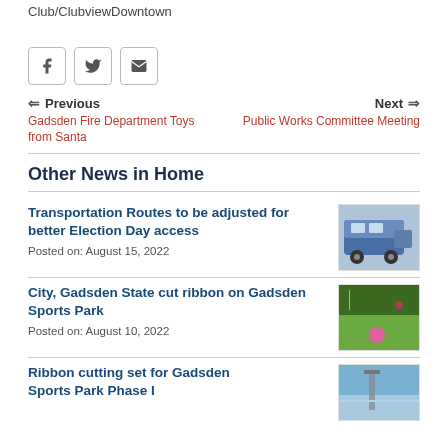Club/ClubviewDowntown
[Figure (screenshot): Social media share icons: Facebook, Twitter, Email]
← Previous
Gadsden Fire Department Toys from Santa
Next ⇒
Public Works Committee Meeting
Other News in Home
Transportation Routes to be adjusted for better Election Day access
Posted on: August 15, 2022
[Figure (photo): Bus vehicle photo]
City, Gadsden State cut ribbon on Gadsden Sports Park
Posted on: August 10, 2022
[Figure (photo): Soccer field with pink ball photo]
Ribbon cutting set for Gadsden Sports Park Phase I
[Figure (photo): Outdoor facility photo]